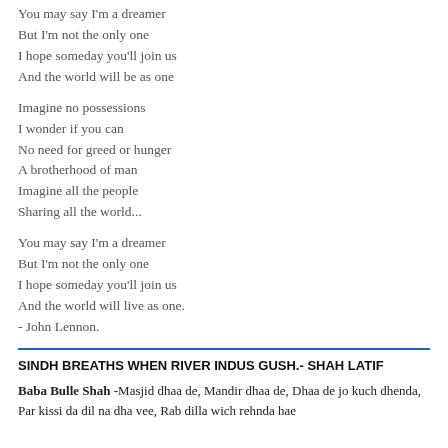You may say I'm a dreamer
But I'm not the only one
I hope someday you'll join us
And the world will be as one
Imagine no possessions
I wonder if you can
No need for greed or hunger
A brotherhood of man
Imagine all the people
Sharing all the world...
You may say I'm a dreamer
But I'm not the only one
I hope someday you'll join us
And the world will live as one.
- John Lennon.
SINDH BREATHS WHEN RIVER INDUS GUSH.- SHAH LATIF
Baba Bulle Shah -Masjid dhaa de, Mandir dhaa de, Dhaa de jo kuch dhenda,
Par kissi da dil na dha vee, Rab dilla wich rehnda hae